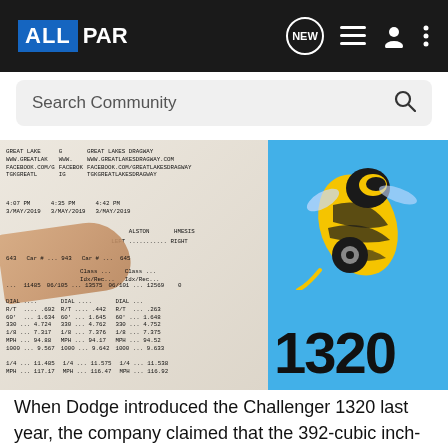ALLPAR
Search Community
[Figure (photo): Left side: a dragstrip timing slip / receipt showing three runs at Great Lakes Dragway dated 3/MAY/2019. A hand points to the slip. Right side: a blue Dodge Challenger 1320 badge with the Scat Pack bee logo above the '1320' emblem.]
When Dodge introduced the Challenger 1320 last year, the company claimed that the 392-cubic inch-powered Hemi car was capable of covering the quarter mile in